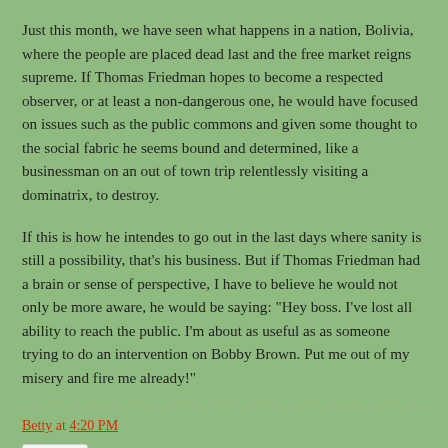Just this month, we have seen what happens in a nation, Bolivia, where the people are placed dead last and the free market reigns supreme. If Thomas Friedman hopes to become a respected observer, or at least a non-dangerous one, he would have focused on issues such as the public commons and given some thought to the social fabric he seems bound and determined, like a businessman on an out of town trip relentlessly visiting a dominatrix, to destroy.
If this is how he intendes to go out in the last days where sanity is still a possibility, that's his business. But if Thomas Friedman had a brain or sense of perspective, I have to believe he would not only be more aware, he would be saying: "Hey boss. I've lost all ability to reach the public. I'm about as useful as as someone trying to do an intervention on Bobby Brown. Put me out of my misery and fire me already!"
Betty at 4:20 PM
Share